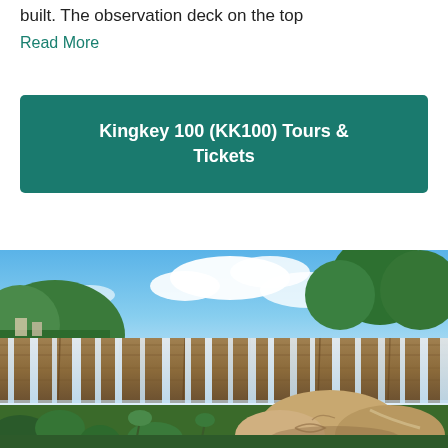built. The observation deck on the top
Read More
Kingkey 100 (KK100) Tours & Tickets
[Figure (photo): Outdoor waterfall scene with rocky cliffs, cascading waterfalls, lush green trees, blue sky with clouds, and large decorative rocks in the foreground]